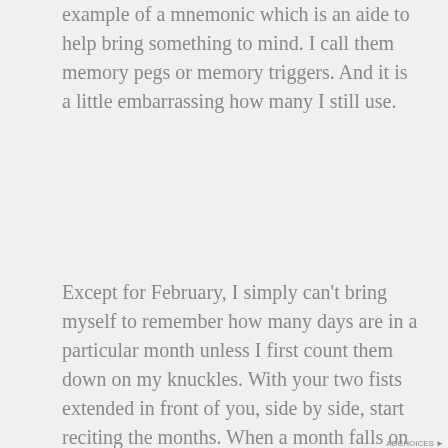example of a mnemonic which is an aide to help bring something to mind. I call them memory pegs or memory triggers. And it is a little embarrassing how many I still use.
Except for February, I simply can't bring myself to remember how many days are in a particular month unless I first count them down on my knuckles. With your two fists extended in front of you, side by side, start reciting the months. When a month falls on a knuckle, it has 31 days. if it falls between knuckles, it has 30 (or 28).
[Figure (screenshot): Two advertisement banners. First shows 'Advertisements' label with a dark blue horizontal bar and a close (X) button. Second shows 'Advertisements' label with a DuckDuckGo ad banner: orange section reads 'Search, browse, and email with more privacy.' and 'All in One Free App', dark section shows DuckDuckGo duck logo.]